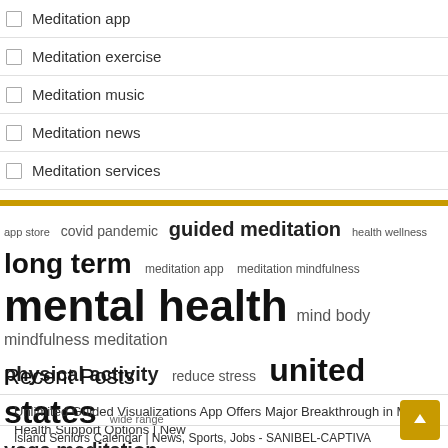Meditation app
Meditation exercise
Meditation music
Meditation news
Meditation services
[Figure (other): Tag/word cloud with terms: app store, covid pandemic, guided meditation, health wellness, long term, meditation app, meditation mindfulness, mental health, mind body, mindfulness meditation, physical activity, reduce stress, united states, wide range, yoga meditation]
Recent Posts
Unlimited Guided Visualizations App Offers Major Breakthrough in Mental Health Support Options | New
Island Seniors Calendar | News, Sports, Jobs - SANIBEL-CAPTIVA